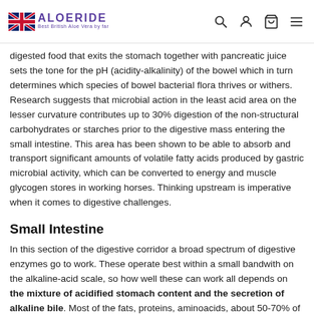ALOERIDE — Best British Aloe Vera by far
digested food that exits the stomach together with pancreatic juice sets the tone for the pH (acidity-alkalinity) of the bowel which in turn determines which species of bowel bacterial flora thrives or withers. Research suggests that microbial action in the least acid area on the lesser curvature contributes up to 30% digestion of the non-structural carbohydrates or starches prior to the digestive mass entering the small intestine. This area has been shown to be able to absorb and transport significant amounts of volatile fatty acids produced by gastric microbial activity, which can be converted to energy and muscle glycogen stores in working horses. Thinking upstream is imperative when it comes to digestive challenges.
Small Intestine
In this section of the digestive corridor a broad spectrum of digestive enzymes go to work. These operate best within a small bandwith on the alkaline-acid scale, so how well these can work all depends on the mixture of acidified stomach content and the secretion of alkaline bile. Most of the fats, proteins, aminoacids, about 50-70% of soluble carbohydrates, as well as vitamins and minerals are absorbed here. For instance, for vitamin B6 to be absorbed, small